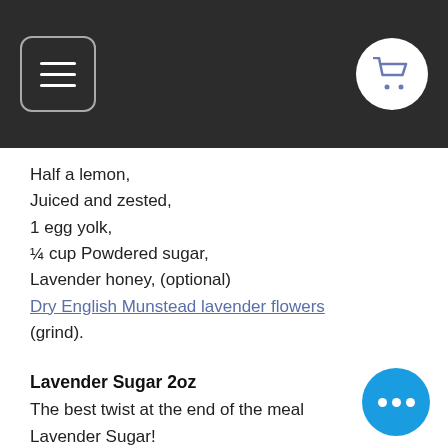[Navigation header with menu and cart buttons]
Half a lemon,
Juiced and zested,
1 egg yolk,
¼ cup Powdered sugar,
Lavender honey, (optional)
Dry English Munstead lavender flowers (grind).
Lavender Sugar 2oz
The best twist at the end of the meal Lavender Sugar! Lavender sugar is good for everything Use it to sweeten iced tea or home lemonade, baking, or hot and cold